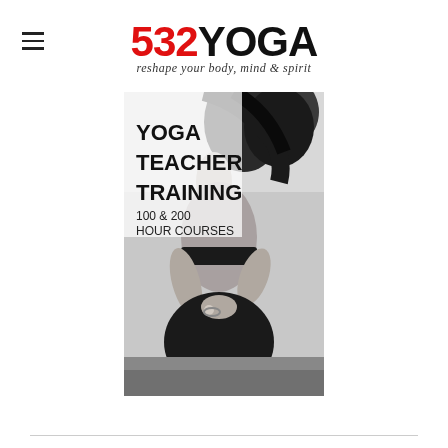532YOGA — reshape your body, mind & spirit
[Figure (photo): Black and white photo of a woman sitting cross-legged in a yoga meditation pose on grass, viewed from behind, wearing a sports bra and yoga pants. Overlaid text reads: YOGA TEACHER TRAINING 100 & 200 HOUR COURSES]